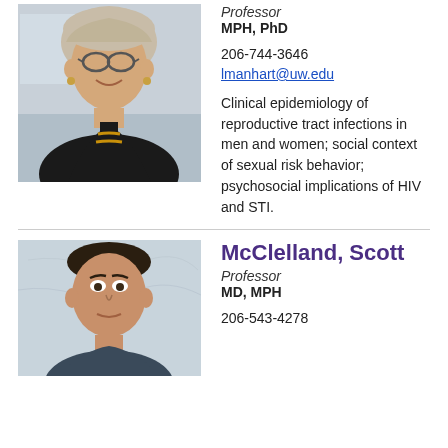[Figure (photo): Headshot of female professor with gray hair and glasses, wearing a black jacket, smiling]
Professor
MPH, PhD
206-744-3646
lmanhart@uw.edu
Clinical epidemiology of reproductive tract infections in men and women; social context of sexual risk behavior; psychosocial implications of HIV and STI.
[Figure (photo): Headshot of male professor with short dark hair, smiling, with a light background]
McClelland, Scott
Professor
MD, MPH
206-543-4278